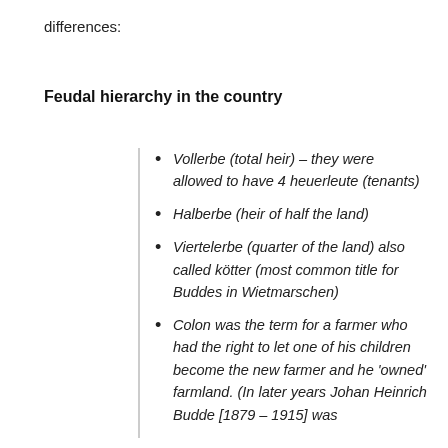differences:
Feudal hierarchy in the country
Vollerbe (total heir) – they were allowed to have 4 heuerleute (tenants)
Halberbe (heir of half the land)
Viertelerbe (quarter of the land) also called kötter (most common title for Buddes in Wietmarschen)
Colon was the term for a farmer who had the right to let one of his children become the new farmer and he 'owned' farmland. (In later years Johan Heinrich Budde [1879 – 1915] was